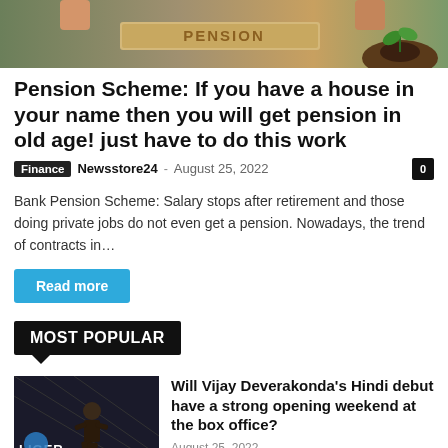[Figure (photo): Hero image showing pension-related objects including wooden blocks spelling PENSION and a small plant in soil]
Pension Scheme: If you have a house in your name then you will get pension in old age! just have to do this work
Finance · Newsstore24 · August 25, 2022 · 0
Bank Pension Scheme: Salary stops after retirement and those doing private jobs do not even get a pension. Nowadays, the trend of contracts in...
Read more
MOST POPULAR
[Figure (photo): Thumbnail image for article about Vijay Deverakonda's Liger - showing a fighter in an octagon/cage]
Will Vijay Deverakonda's Hindi debut have a strong opening weekend at the box office?
August 25, 2022